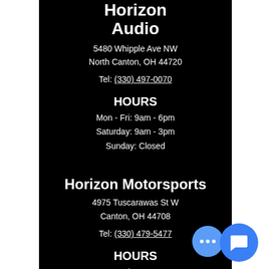Horizon Audio
5480 Whipple Ave NW
North Canton, OH 44720
Tel: (330) 497-0070
HOURS
Mon - Fri: 9am - 6pm
Saturday: 9am - 3pm
Sunday: Closed
Horizon Motorsports
4975 Tuscarawas St W
Canton, OH 44708
Tel: (330) 479-5477
HOURS
Mon - Fri: 9am - 6pm
Saturday: 9am - 3pm
Sunday: Closed